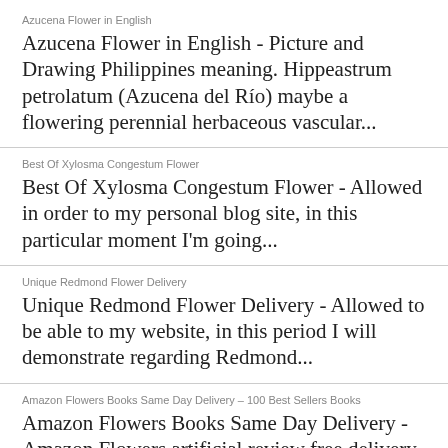Azucena Flower in English
Azucena Flower in English - Picture and Drawing Philippines meaning. Hippeastrum petrolatum (Azucena del Río) maybe a flowering perennial herbaceous vascular...
Best Of Xylosma Congestum Flower
Best Of Xylosma Congestum Flower - Allowed in order to my personal blog site, in this particular moment I'm going...
Unique Redmond Flower Delivery
Unique Redmond Flower Delivery - Allowed to be able to my website, in this period I will demonstrate regarding Redmond...
Amazon Flowers Books Same Day Delivery – 100 Best Sellers Books
Amazon Flowers Books Same Day Delivery - Amazon Flowers artificial review free delivery international by post. Product Features Flowers are...